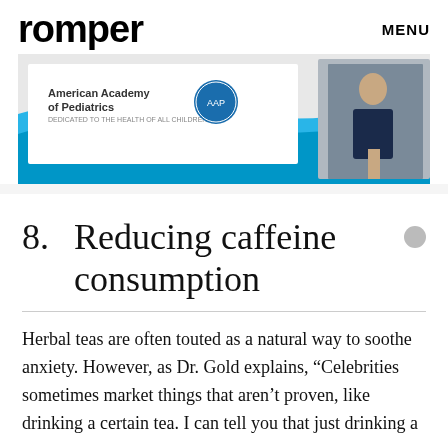romper    MENU
[Figure (screenshot): Advertisement banner showing American Academy of Pediatrics logo and branding with blue wave design and a person in the background]
8.  Reducing caffeine consumption
Herbal teas are often touted as a natural way to soothe anxiety. However, as Dr. Gold explains, “Celebrities sometimes market things that aren’t proven, like drinking a certain tea. I can tell you that just drinking a